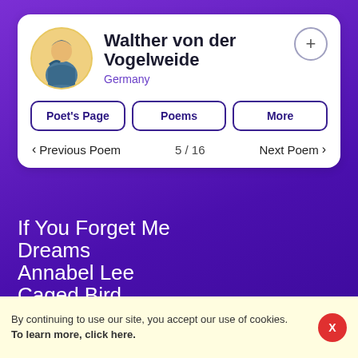Walther von der Vogelweide
Germany
Poet's Page | Poems | More
< Previous Poem   5 / 16   Next Poem >
If You Forget Me
Dreams
Annabel Lee
Caged Bird
If
Fire And Ice
On The Death Of The Beloved
By continuing to use our site, you accept our use of cookies. To learn more, click here.